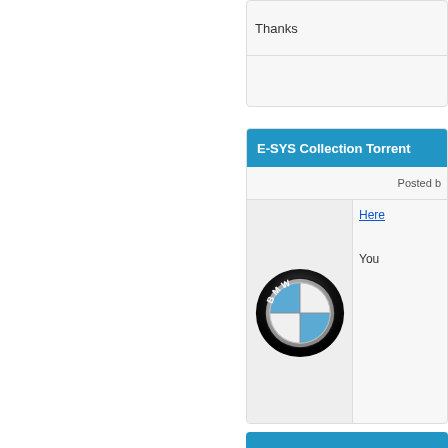Thanks
E-SYS Collection Torrent
Posted b
[Figure (logo): BMW circular logo with blue and white quadrants and black ring with BMW lettering]
Here
You